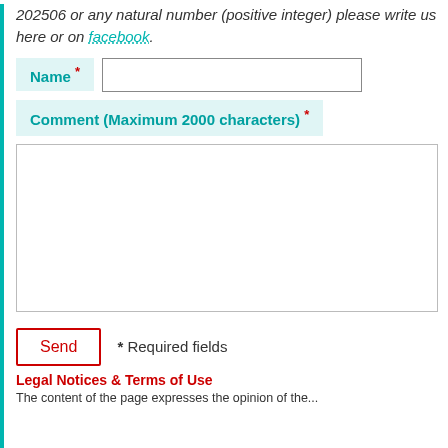202506 or any natural number (positive integer) please write us here or on facebook.
Name * [input field]
Comment (Maximum 2000 characters) * [textarea]
Send  * Required fields
Legal Notices & Terms of Use
The content of the page expresses the opinion of the...